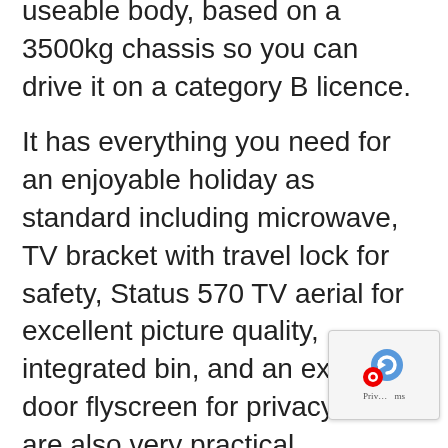useable body, based on a 3500kg chassis so you can drive it on a category B licence.
It has everything you need for an enjoyable holiday as standard including microwave, TV bracket with travel lock for safety, Status 570 TV aerial for excellent picture quality, integrated bin, and an exterior door flyscreen for privacy. There are also very practical removable carpets. Driver and passenger are well catered for with supremely comfortable two-position front seats and 2 forward facing travelling seats, reversing sensors, cruise control, DAB radio, air conditioning, pass airbag and 2 drinks holders.
Indiing with the 2020 Swift and done oth...